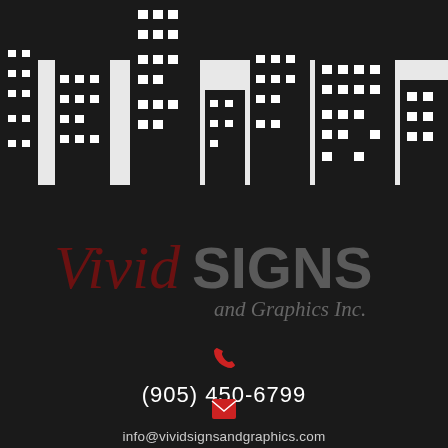[Figure (illustration): City skyline silhouette in black against white/grey sky background, showing multiple skyscrapers with small white window squares]
[Figure (logo): Vivid Signs and Graphics Inc. logo — 'Vivid' in dark red italic script, 'SIGNS' in large grey bold sans-serif, 'and Graphics Inc.' in smaller grey italic below]
(905) 450-6799
info@vividsignsandgraphics.com